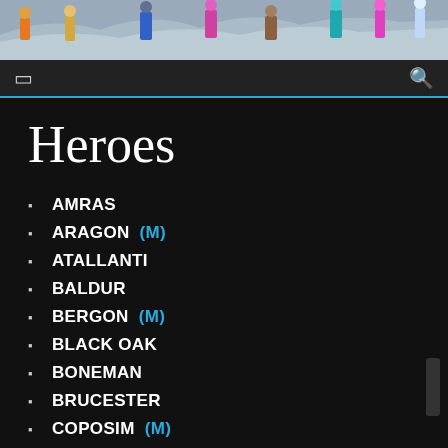[Figure (illustration): Screenshot of a fantasy game website header showing colorful hero characters standing in a snowy/icy landscape with mountains in the background]
Navigation bar with menu icon and search icon, blue bottom border
Heroes
AMRAS
ARAGON (M)
ATALLANTI
BALDUR
BERGON (M)
BLACK OAK
BONEMAN
BRUCESTER
COPOSIM (M)
CRONOS
DA'VEY (M)